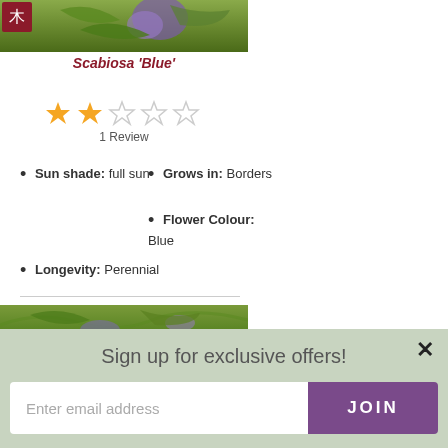[Figure (photo): Close-up photo of Scabiosa 'Blue' flower with purple blooms and green leaves, cropped at top]
Scabiosa 'Blue'
[Figure (other): Star rating widget showing 2 out of 5 filled orange stars]
1 Review
Sun shade: full sun
Grows in: Borders
Flower Colour: Blue
Longevity: Perennial
[Figure (photo): Partial photo of another plant with green foliage and purple flowers]
Sign up for exclusive offers!
Enter email address
JOIN